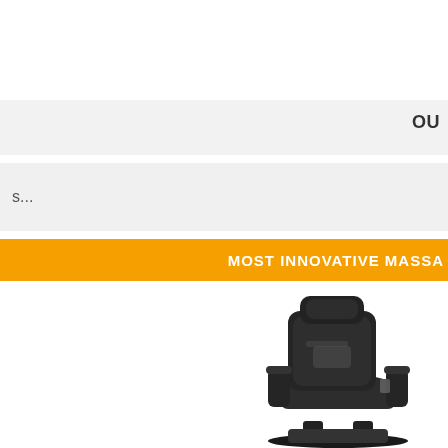OU
s...
MOST INNOVATIVE MASSA
[Figure (photo): A dark gray/black massage chair photographed at an angle, showing its reclined seat, armrests, headrest, and base.]